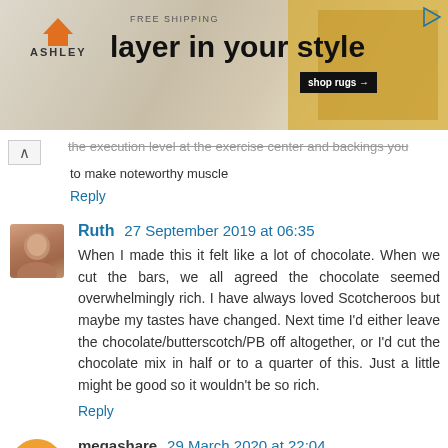[Figure (screenshot): Ashley Furniture advertisement banner: FREE SHIPPING, 'layer in your style', shop rugs button]
the execution level at the exercise center and backings you to make noteworthy muscle
Reply
Ruth  27 September 2019 at 06:35
When I made this it felt like a lot of chocolate. When we cut the bars, we all agreed the chocolate seemed overwhelmingly rich. I have always loved Scotcheroos but maybe my tastes have changed. Next time I'd either leave the chocolate/butterscotch/PB off altogether, or I'd cut the chocolate mix in half or to a quarter of this. Just a little might be good so it wouldn't be so rich.
Reply
megashare  29 March 2020 at 22:04
drawing of numbers at random for a prize please check